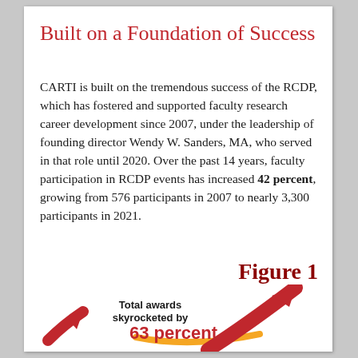Built on a Foundation of Success
CARTI is built on the tremendous success of the RCDP, which has fostered and supported faculty research career development since 2007, under the leadership of founding director Wendy W. Sanders, MA, who served in that role until 2020. Over the past 14 years, faculty participation in RCDP events has increased 42 percent, growing from 576 participants in 2007 to nearly 3,300 participants in 2021.
Figure 1
[Figure (infographic): Infographic showing a large red upward arrow with text 'Total awards skyrocketed by 63 percent' and a smaller red arrow in lower left corner, with an orange/yellow swoosh underlining the percent text.]